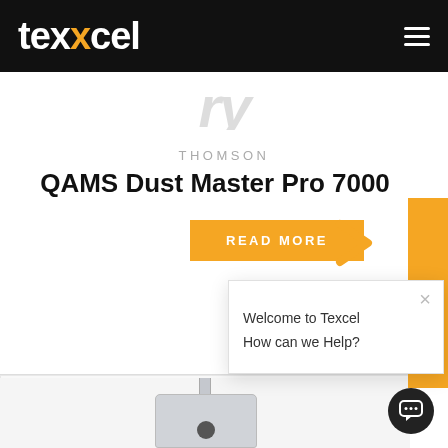[Figure (logo): Texcel logo in white on black background with orange X letter, with hamburger menu icon on right]
[Figure (photo): Partially visible italic text cut off at the top of a product card, appears to be a stylized product category label]
THOMSON
QAMS Dust Master Pro 7000
READ MORE
[Figure (illustration): Orange right-pointing chevron arrow next to READ MORE button]
t Us
Welcome to Texcel
How can we Help?
[Figure (photo): Partial view of a dust monitoring device (QAMS Dust Master Pro 7000) — grey box unit with vertical probe tube and black knob]